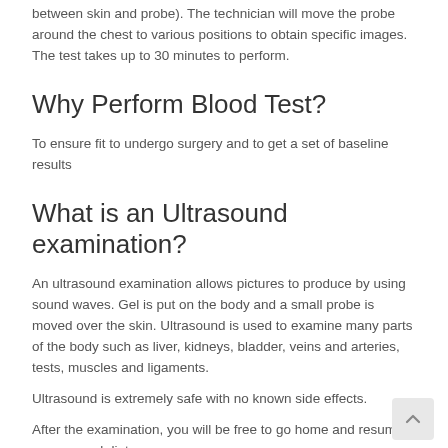between skin and probe). The technician will move the probe around the chest to various positions to obtain specific images. The test takes up to 30 minutes to perform.
Why Perform Blood Test?
To ensure fit to undergo surgery and to get a set of baseline results
What is an Ultrasound examination?
An ultrasound examination allows pictures to produce by using sound waves. Gel is put on the body and a small probe is moved over the skin. Ultrasound is used to examine many parts of the body such as liver, kidneys, bladder, veins and arteries, tests, muscles and ligaments.
Ultrasound is extremely safe with no known side effects.
After the examination, you will be free to go home and resume your normal diet.